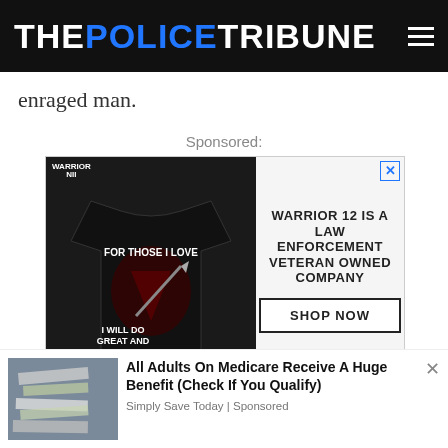THE POLICE TRIBUNE
enraged man.
Sponsored:
[Figure (photo): Advertisement for Warrior 12 - a law enforcement veteran owned company. Shows a black t-shirt with text 'FOR THOSE I LOVE / I WILL DO GREAT AND TERRIBLE THINGS'. Right side reads 'WARRIOR 12 IS A LAW ENFORCEMENT VETERAN OWNED COMPANY' with a 'SHOP NOW' button.]
When the suspect tried to stab one of
[Figure (photo): Bottom advertisement image showing papers/money, with overlay text: 'All Adults On Medicare Receive A Huge Benefit (Check If You Qualify)' from Simply Save Today | Sponsored]